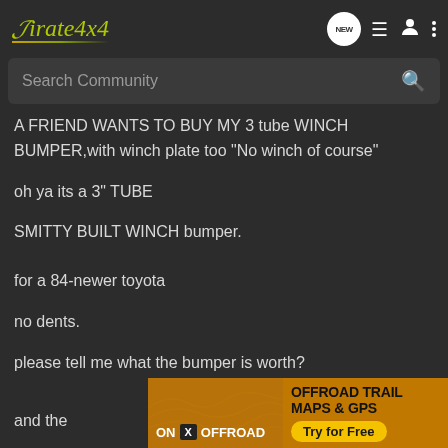Pirate4x4
Search Community
A FRIEND WANTS TO BUY MY 3 tube WINCH BUMPER,with winch plate too "No winch of course"

oh ya its a 3" TUBE

SMITTY BUILT WINCH bumper.

for a 84-newer toyota

no dents.

please tell me what the bumper is worth?
and the
[Figure (screenshot): Advertisement banner for onX Offroad showing 'OFFROAD TRAIL MAPS & GPS - Try for Free']